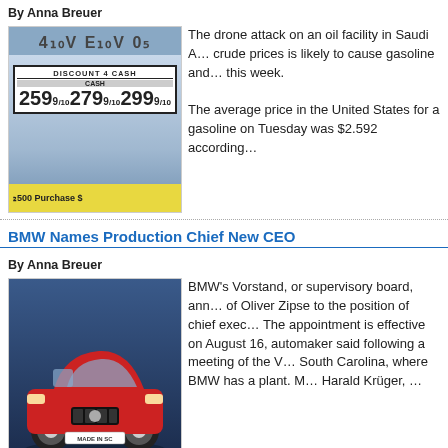By Anna Breuer
[Figure (photo): Gas station price sign showing DISCOUNT 4 CASH prices: 259 9/10, 279 9/10, 299 9/10]
The drone attack on an oil facility in Saudi A… crude prices is likely to cause gasoline and… this week. The average price in the United States for a gasoline on Tuesday was $2.592 according…
BMW Names Production Chief New CEO
By Anna Breuer
[Figure (photo): Red BMW SUV car displayed on stage with blue background, license plate reading MADE IN SC]
BMW's Vorstand, or supervisory board, ann… of Oliver Zipse to the position of chief exec… The appointment is effective on August 16, automaker said following a meeting of the V… South Carolina, where BMW has a plant. M… Harald Krüger, …